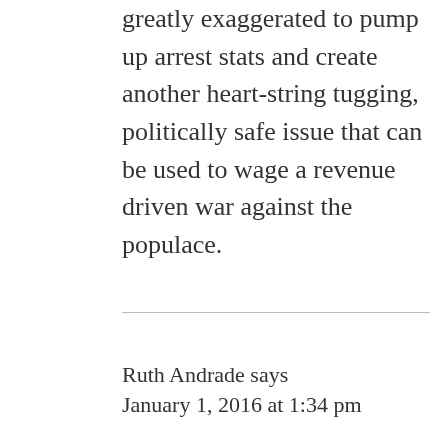greatly exaggerated to pump up arrest stats and create another heart-string tugging, politically safe issue that can be used to wage a revenue driven war against the populace.
Ruth Andrade says
January 1, 2016 at 1:34 pm
How horrifying to be going through something like this. At any time but especially during the holidays! Our sincerest condolences to every one but especially Samanthas family. Sammy was my son Kailebs best friend in elementary school. Our hearts are broken! We will help